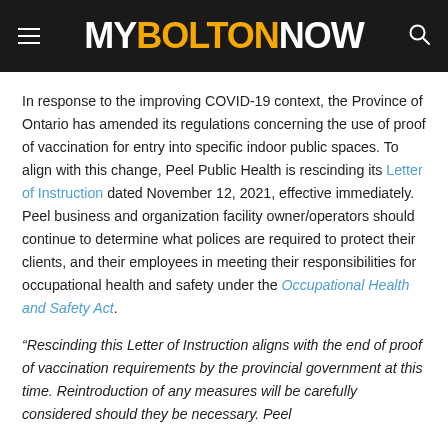MY BOLTON NOW
In response to the improving COVID-19 context, the Province of Ontario has amended its regulations concerning the use of proof of vaccination for entry into specific indoor public spaces. To align with this change, Peel Public Health is rescinding its Letter of Instruction dated November 12, 2021, effective immediately. Peel business and organization facility owner/operators should continue to determine what polices are required to protect their clients, and their employees in meeting their responsibilities for occupational health and safety under the Occupational Health and Safety Act.
“Rescinding this Letter of Instruction aligns with the end of proof of vaccination requirements by the provincial government at this time. Reintroduction of any measures will be carefully considered should they be necessary. Peel